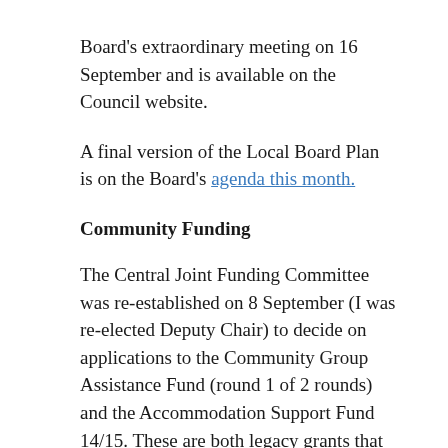Board's extraordinary meeting on 16 September and is available on the Council website.
A final version of the Local Board Plan is on the Board's agenda this month.
Community Funding
The Central Joint Funding Committee was re-established on 8 September (I was re-elected Deputy Chair) to decide on applications to the Community Group Assistance Fund (round 1 of 2 rounds) and the Accommodation Support Fund 14/15. These are both legacy grants that will be disestablished when the new funding